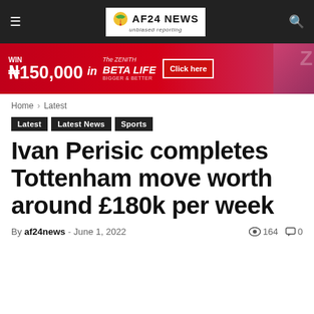AF24 NEWS — unbiased reporting
[Figure (infographic): Red advertisement banner: WIN ₦150,000 in Zenith Beta Life — Click here button]
Home › Latest
Latest
Latest News
Sports
Ivan Perisic completes Tottenham move worth around £180k per week
By af24news - June 1, 2022   👁 164   💬 0